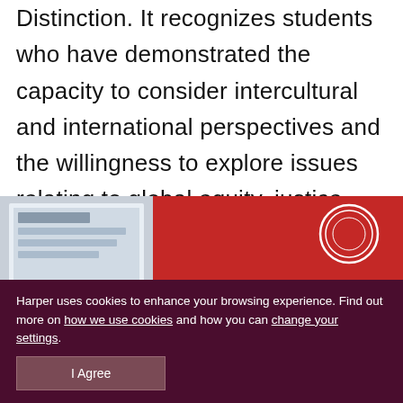Distinction. It recognizes students who have demonstrated the capacity to consider intercultural and international perspectives and the willingness to explore issues relating to global equity, justice and peace.
[Figure (photo): Photo of people at an event with a red background featuring a circular seal/emblem, and a computer screen visible on the left side.]
Harper uses cookies to enhance your browsing experience. Find out more on how we use cookies and how you can change your settings.